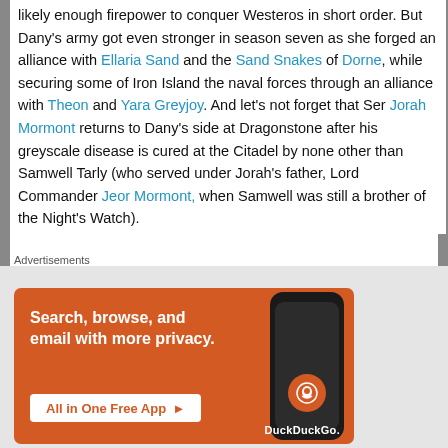as well as three full-grown dragons at her disposal, likely enough firepower to conquer Westeros in short order. But Dany's army got even stronger in season seven as she forged an alliance with Ellaria Sand and the Sand Snakes of Dorne, while securing some of Iron Island the naval forces through an alliance with Theon and Yara Greyjoy. And let's not forget that Ser Jorah Mormont returns to Dany's side at Dragonstone after his greyscale disease is cured at the Citadel by none other than Samwell Tarly (who served under Jorah's father, Lord Commander Jeor Mormont, when Samwell was still a brother of the Night's Watch).
But the various key players from many of the Great Houses uniting on Dragonstone would not end there; there would be one more character to join, and though
Advertisements
[Figure (screenshot): DuckDuckGo advertisement banner with orange background showing 'Search, browse, and email with more privacy. All in One Free App' with phone graphic and DuckDuckGo logo]